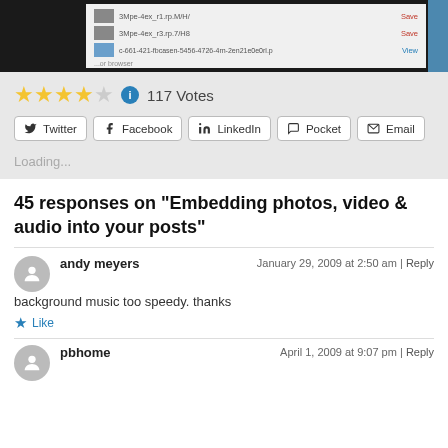[Figure (screenshot): Screenshot of a file upload/media manager interface showing file rows with thumbnails and action links (Save/Save/View), against a dark background with a blue sidebar element.]
117 Votes
Twitter  Facebook  LinkedIn  Pocket  Email
Loading...
45 responses on “Embedding photos, video & audio into your posts”
andy meyers
January 29, 2009 at 2:50 am | Reply
background music too speedy. thanks
Like
pbhome
April 1, 2009 at 9:07 pm | Reply